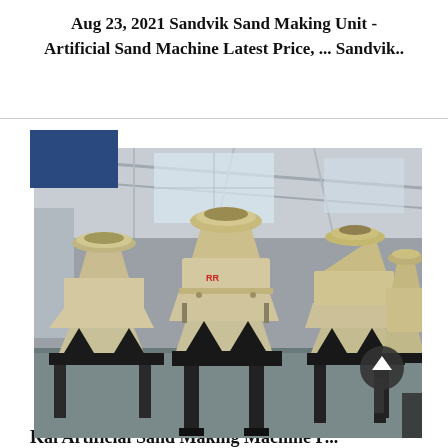Aug 23, 2021 Sandvik Sand Making Unit - Artificial Sand Machine Latest Price, ... Sandvik..
[Figure (photo): Industrial sand making machines (VSI crushers) arranged in a factory floor. Multiple large beige/cream colored cone-shaped crushing units on metal stands with triangular support frames, inside a large industrial warehouse with steel roof structure. A dark blue rectangular overlay is visible in the upper-left corner of the image area. A dark circular scroll-to-top button is visible in the lower-right of the photo.]
Kai Artificial Sand Making Machine P...